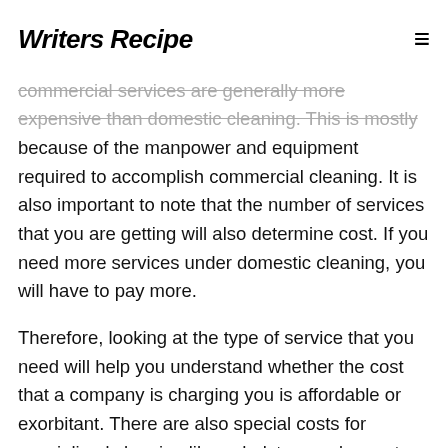Writers Recipe
determine the cost that you will be charged. commercial services are generally more expensive than domestic cleaning. This is mostly because of the manpower and equipment required to accomplish commercial cleaning. It is also important to note that the number of services that you are getting will also determine cost. If you need more services under domestic cleaning, you will have to pay more.
Therefore, looking at the type of service that you need will help you understand whether the cost that a company is charging you is affordable or exorbitant. There are also special costs for specialized cleaning like upholstery and carpet cleaning. It is always advisable to hire a company that specifically offers the services that you require because it will be cheaper to get them from an expert.
The size of your space is also a major determinant of